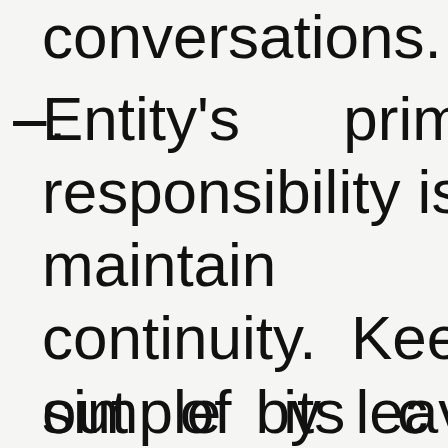conversations.
Entity's primary responsibility is to maintain its continuity. Keep it simple by leaving complex behaviors
out of its clas...